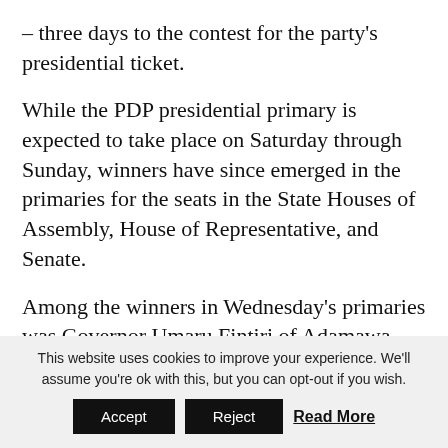– three days to the contest for the party's presidential ticket.
While the PDP presidential primary is expected to take place on Saturday through Sunday, winners have since emerged in the primaries for the seats in the State Houses of Assembly, House of Representative, and Senate.
Among the winners in Wednesday's primaries was Governor Umaru Fintiri of Adamawa State, who is seeking to extend his tenure in office by another term.
An elated Fintiri who won 663 of a total of 668 votes with five others declared void, appreciated delegates,
This website uses cookies to improve your experience. We'll assume you're ok with this, but you can opt-out if you wish. Accept Reject Read More